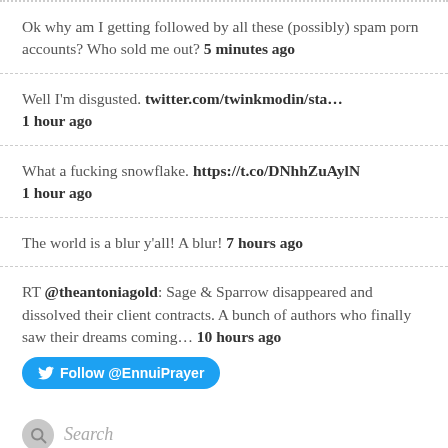Ok why am I getting followed by all these (possibly) spam porn accounts? Who sold me out? 5 minutes ago
Well I'm disgusted. twitter.com/twinkmodin/sta… 1 hour ago
What a fucking snowflake. https://t.co/DNhhZuAylN 1 hour ago
The world is a blur y'all! A blur! 7 hours ago
RT @theantoniagold: Sage & Sparrow disappeared and dissolved their client contracts. A bunch of authors who finally saw their dreams coming… 10 hours ago
Follow @EnnuiPrayer
Search
Search